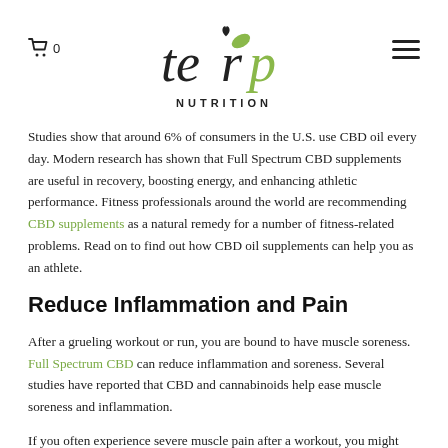Terp Nutrition logo with cart icon (0) and hamburger menu
Studies show that around 6% of consumers in the U.S. use CBD oil every day. Modern research has shown that Full Spectrum CBD supplements are useful in recovery, boosting energy, and enhancing athletic performance. Fitness professionals around the world are recommending CBD supplements as a natural remedy for a number of fitness-related problems. Read on to find out how CBD oil supplements can help you as an athlete.
Reduce Inflammation and Pain
After a grueling workout or run, you are bound to have muscle soreness. Full Spectrum CBD can reduce inflammation and soreness. Several studies have reported that CBD and cannabinoids help ease muscle soreness and inflammation.
If you often experience severe muscle pain after a workout, you might consider using a full-spectrum topicals. The hot and cold menthol sensation infused with natural oils